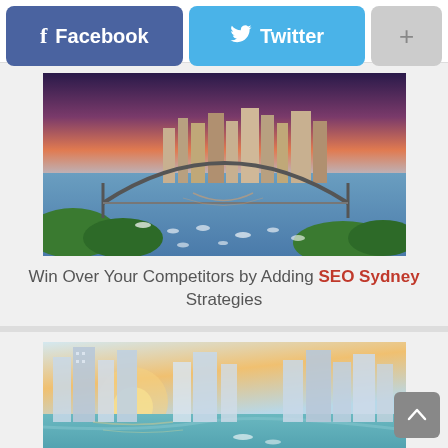[Figure (screenshot): Social share buttons: Facebook (blue-purple), Twitter (light blue), and a plus button (grey)]
[Figure (photo): Aerial photograph of Sydney Harbour showing the Harbour Bridge, city skyline with buildings, blue harbour waters dotted with boats, and a dramatic purple-pink sunset sky]
Win Over Your Competitors by Adding SEO Sydney Strategies
[Figure (photo): Aerial photograph of a modern city marina (possibly Dubai Marina) with tall glass skyscrapers, a waterway curving through the city, and warm golden sunlight]